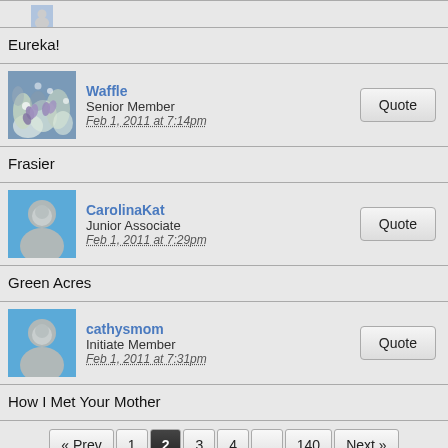[Figure (photo): Partial avatar image at top of page (cropped), showing bottom portion of a profile avatar]
Eureka!
[Figure (photo): Avatar image of Waffle user showing flowers/crocuses in snow]
Waffle
Senior Member
Feb 1, 2011 at 7:14pm
Frasier
[Figure (photo): Default avatar image for CarolinaKat user, blue background with grey person silhouette]
CarolinaKat
Junior Associate
Feb 1, 2011 at 7:29pm
Green Acres
[Figure (photo): Default avatar image for cathysmom user, blue background with grey person silhouette]
cathysmom
Initiate Member
Feb 1, 2011 at 7:31pm
How I Met Your Mother
« Prev  1  2  3  4  ..  140  Next »